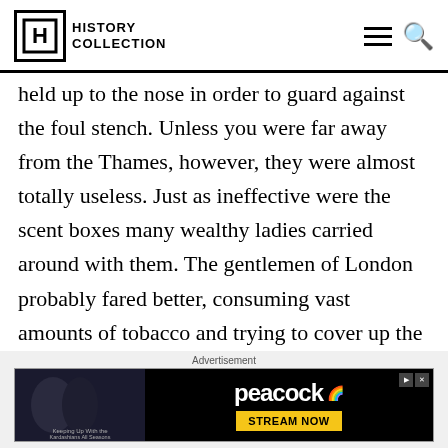History Collection
held up to the nose in order to guard against the foul stench. Unless you were far away from the Thames, however, they were almost totally useless. Just as ineffective were the scent boxes many wealthy ladies carried around with them. The gentlemen of London probably fared better, consuming vast amounts of tobacco and trying to cover up the smell with smoke.
Advertisement
[Figure (other): Peacock streaming service advertisement banner showing 'Keeping Up With the Kardashians All Seasons' with STREAM NOW button]